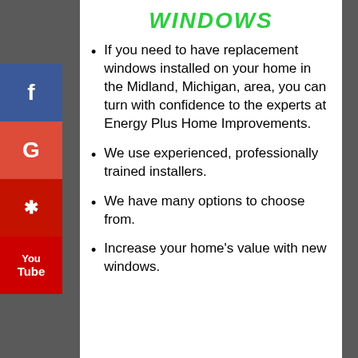WINDOWS
If you need to have replacement windows installed on your home in the Midland, Michigan, area, you can turn with confidence to the experts at Energy Plus Home Improvements.
We use experienced, professionally trained installers.
We have many options to choose from.
Increase your home's value with new windows.